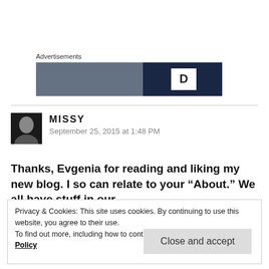Advertisements
[Figure (screenshot): Advertisement banner image showing a dark/blurred photo on the left half and a dark navy blue section with a white letter D on the right half]
MISSY
September 25, 2015 at 1:48 PM
Thanks, Evgenia for reading and liking my new blog. I so can relate to your “About.” We all have stuff in our
Privacy & Cookies: This site uses cookies. By continuing to use this website, you agree to their use.
To find out more, including how to control cookies, see here: Cookie Policy
Close and accept